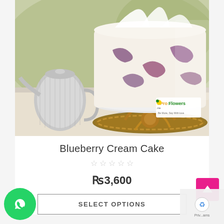[Figure (photo): A blueberry cream cake with white frosting and purple blueberry decorations on a gold rope-style cake stand, with a silver teapot on the left and a ProFlowers logo watermark in the bottom right corner]
Blueberry Cream Cake
★★★★★ (empty stars rating)
₨3,600
SELECT OPTIONS